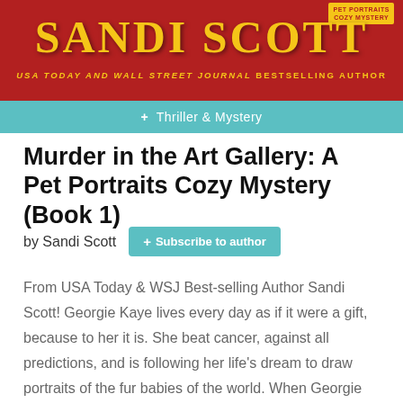[Figure (illustration): Sandi Scott author banner with dark red background, gold 'SANDI SCOTT' title text, subtitle 'USA TODAY AND WALL STREET JOURNAL BESTSELLING AUTHOR', teal bar with '+ Thriller & Mystery', and a small cozy mystery badge in upper right corner with a cartoon hand illustration.]
Murder in the Art Gallery: A Pet Portraits Cozy Mystery (Book 1)
by Sandi Scott
From USA Today & WSJ Best-selling Author Sandi Scott! Georgie Kaye lives every day as if it were a gift, because to her it is. She beat cancer, against all predictions, and is following her life's dream to draw portraits of the fur babies of the world. When Georgie and her twin sister Aleta arrive at an art gallery that ...